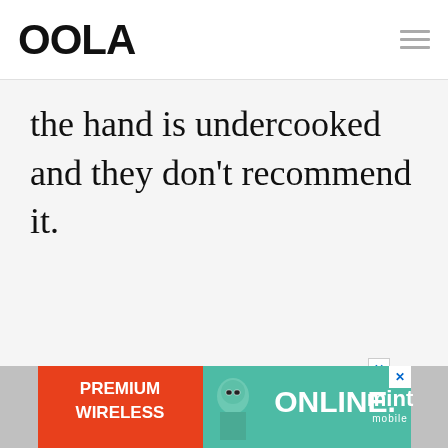OOLA
the hand is undercooked and they don't recommend it.
- ADVERTISEMENT - CONTINUE READING BELOW -
[Figure (infographic): Mint Mobile advertisement banner showing 'PREMIUM WIRELESS ONLINE.' with a cartoon character on orange and teal background]